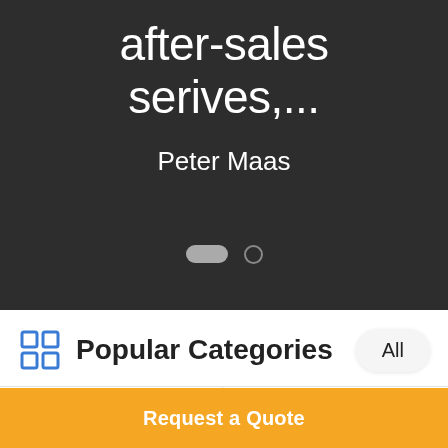after-sales serives,...
Peter Maas
Popular Categories
Lab Test Machines
Environmental Test Chamber
Request a Quote